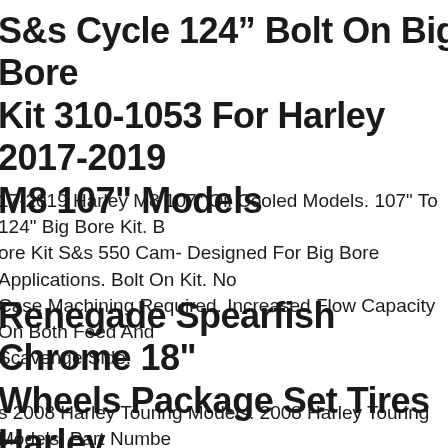S&s Cycle 124" Bolt On Big Bore Kit 310-1053 For Harley 2017-2019 M8 107" Models
17-2019 Harley M8 107" Oil Cooled Models. 107" To 124" Big Bore Kit. Big Bore Kit S&s 550 Cam- Designed For Big Bore Applications. Bolt On Kit. No Case Machining Required. Increased Flow Capacity On Both Feed And Scavenge Side.
Renegade Spearfish Chrome 18" Wheels Package Set Tires Harley flh/t 08
s 2008 Harley Touring Models. 2008 Harley Touring Models. Part Number ne-ch2008-1818. Notify Us Right Away So We Start The Process. Warranties All Products Are Warranted Against Manufacturers Defects.